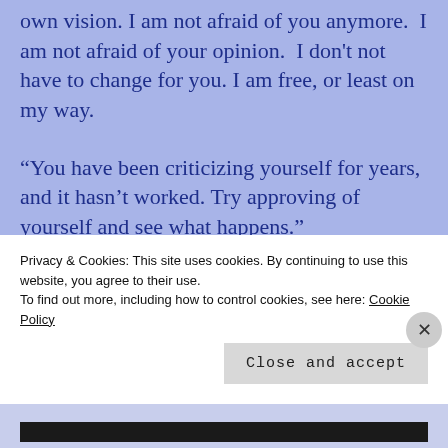own vision. I am not afraid of you anymore.  I am not afraid of your opinion.  I don't not have to change for you. I am free, or least on my way.
“You have been criticizing yourself for years, and it hasn’t worked. Try approving of yourself and see what happens.”
– Louise L. Hay
Privacy & Cookies: This site uses cookies. By continuing to use this website, you agree to their use.
To find out more, including how to control cookies, see here: Cookie Policy
Close and accept